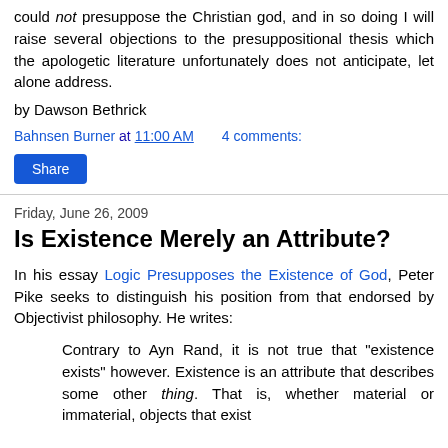could not presuppose the Christian god, and in so doing I will raise several objections to the presuppositional thesis which the apologetic literature unfortunately does not anticipate, let alone address.
by Dawson Bethrick
Bahnsen Burner at 11:00 AM   4 comments:
Share
Friday, June 26, 2009
Is Existence Merely an Attribute?
In his essay Logic Presupposes the Existence of God, Peter Pike seeks to distinguish his position from that endorsed by Objectivist philosophy. He writes:
Contrary to Ayn Rand, it is not true that "existence exists" however. Existence is an attribute that describes some other thing. That is, whether material or immaterial, objects that exist